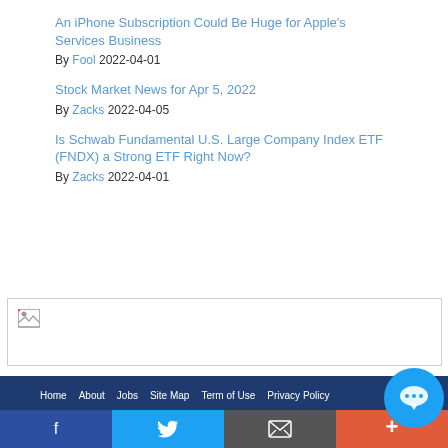An iPhone Subscription Could Be Huge for Apple's Services Business
By Fool 2022-04-01
Stock Market News for Apr 5, 2022
By Zacks 2022-04-05
Is Schwab Fundamental U.S. Large Company Index ETF (FNDX) a Strong ETF Right Now?
By Zacks 2022-04-01
[Figure (other): Broken image placeholder in a bordered box]
Home  About  Jobs  Site Map  Term of Use  Privacy Policy
Social share bar: Facebook, Twitter, Email, More